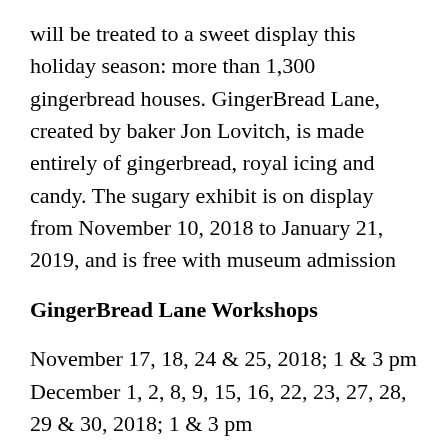will be treated to a sweet display this holiday season: more than 1,300 gingerbread houses. GingerBread Lane, created by baker Jon Lovitch, is made entirely of gingerbread, royal icing and candy. The sugary exhibit is on display from November 10, 2018 to January 21, 2019, and is free with museum admission
GingerBread Lane Workshops
November 17, 18, 24 & 25, 2018; 1 & 3 pm
December 1, 2, 8, 9, 15, 16, 22, 23, 27, 28, 29 & 30, 2018; 1 & 3 pm
Visitors can make their own gingerbread houses or trains in this popular workshop that sells out every year. Each